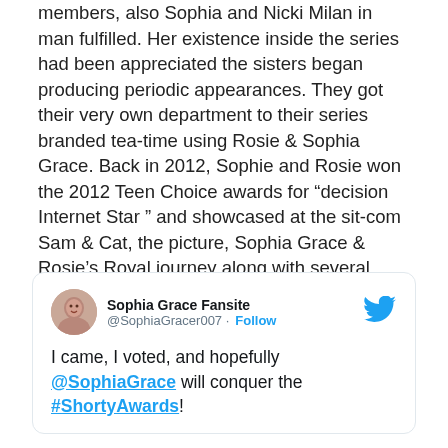members, also Sophia and Nicki Milan in man fulfilled. Her existence inside the series had been appreciated the sisters began producing periodic appearances. They got their very own department to their series branded tea-time using Rosie & Sophia Grace. Back in 2012, Sophie and Rosie won the 2012 Teen Choice awards for “decision Internet Star ” and showcased at the sit-com Sam & Cat, the picture, Sophia Grace & Rosie’s Royal journey along with several much more.
[Figure (screenshot): Embedded tweet from @SophiaGracer007 (Sophia Grace Fansite) with Twitter bird logo, avatar photo of a young woman, Follow button, and tweet text: 'I came, I voted, and hopefully @SophiaGrace will conquer the #ShortyAwards!']